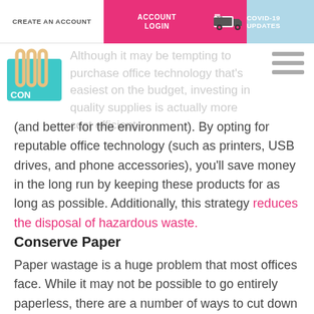CREATE AN ACCOUNT | ACCOUNT LOGIN | COVID-19 UPDATES
[Figure (logo): CON today's office logo with paperclip icon in teal/cyan color]
Although it may be tempting to purchase office technology that's easiest on the budget, investing in quality supplies is actually more cost efficient (and better for the environment). By opting for reputable office technology (such as printers, USB drives, and phone accessories), you'll save money in the long run by keeping these products for as long as possible. Additionally, this strategy reduces the disposal of hazardous waste.
Conserve Paper
Paper wastage is a huge problem that most offices face. While it may not be possible to go entirely paperless, there are a number of ways to cut down on paper usage. It's estimated that paper documents account for 90% of all office waste in the U.S., so